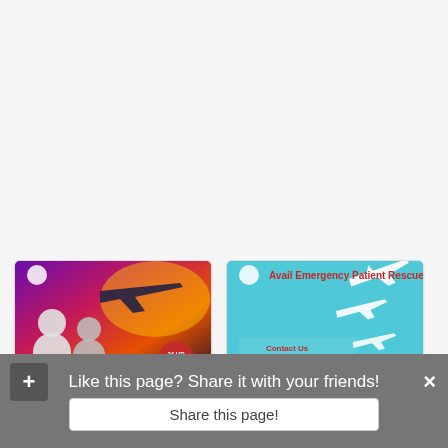[Figure (photo): Air ambulance promotional image showing medical professionals and aircraft with text info@panchmukhi airambulance for left card]
Acquire Country Best Air...
Health - Beauty - Fitness
Bhopal (Madhya Pradesh)
October 12, 2021
[Figure (photo): Avail Emergency Patient Rescue promotional image with airplanes on teal background, contact information for Panchmukhi Air Ambulance]
Unbelievable Medical Setup..
Health - Beauty - Fitness
Indore (Madhya Pradesh)
September 16, 2021
Like this page? Share it with your friends!
Share this page!